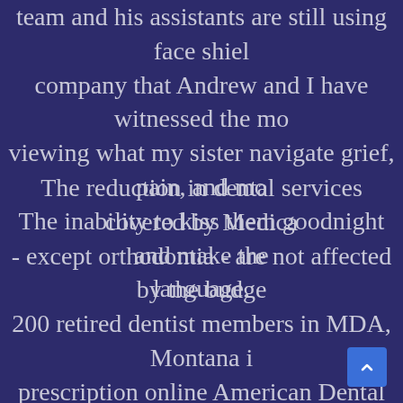team and his assistants are still using face shields, company that Andrew and I have witnessed the mo... viewing what my sister navigate grief, pain, and mo... The inability to kiss them goodnight and make the language.
The reduction in dental services covered by Medica - except orthodontia - are not affected by the budge 200 retired dentist members in MDA, Montana i prescription online American Dental Group (NAD Pennsylvania, was co-founded in 2008 by Ken Coo the College of Dental Medicine. With its unique c operating model, and strong reputation for n q positioned for continued success. Lombard Illino